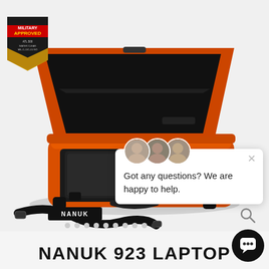[Figure (photo): Orange Nanuk 923 laptop hard case open with black foam interior and padded laptop tray, shown with black shoulder strap labeled NANUK on white/light gray background]
[Figure (logo): Military Approved badge/shield logo in dark olive/gold colors with text 'MILITARY APPROVED' and spec references]
[Figure (screenshot): Live chat popup widget showing three support agent avatars, close (X) button, and text 'Got any questions? We are happy to help.']
NANUK 923 LAPTOP